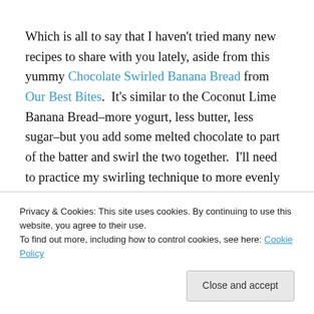Which is all to say that I haven't tried many new recipes to share with you lately, aside from this yummy Chocolate Swirled Banana Bread from Our Best Bites.  It's similar to the Coconut Lime Banana Bread–more yogurt, less butter, less sugar–but you add some melted chocolate to part of the batter and swirl the two together.  I'll need to practice my swirling technique to more evenly distribute the chocolate, but it's yummy.  I substituted white whole wheat
Privacy & Cookies: This site uses cookies. By continuing to use this website, you agree to their use. To find out more, including how to control cookies, see here: Cookie Policy
So here's my plea to you readers:  What would you like to